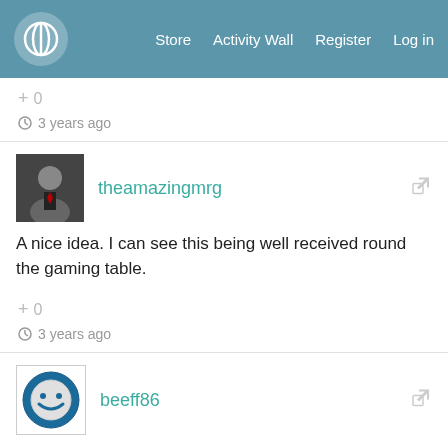Store  Activity Wall  Register  Log in
+ 0
3 years ago
theamazingmrg
A nice idea. I can see this being well received round the gaming table.
+ 0
3 years ago
beeff86
8 bit box looks really cool.